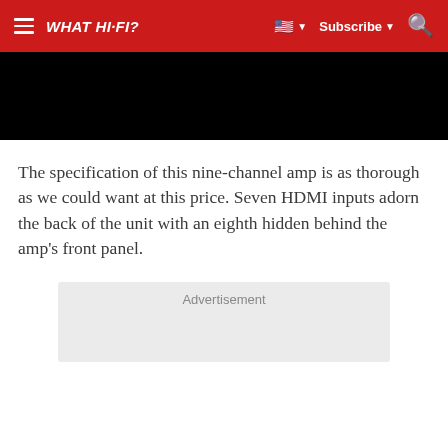WHAT HI-FI? | Subscribe
[Figure (photo): Black banner image area at top of article]
The specification of this nine-channel amp is as thorough as we could want at this price. Seven HDMI inputs adorn the back of the unit with an eighth hidden behind the amp's front panel.
Advertisement